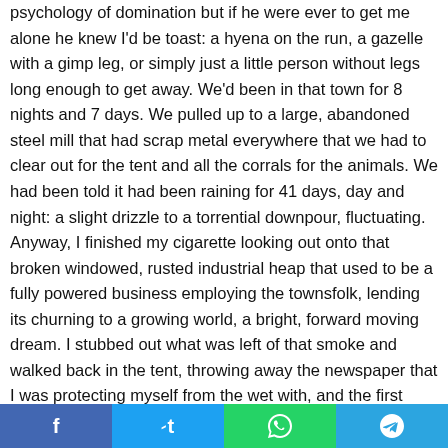psychology of domination but if he were ever to get me alone he knew I'd be toast: a hyena on the run, a gazelle with a gimp leg, or simply just a little person without legs long enough to get away. We'd been in that town for 8 nights and 7 days. We pulled up to a large, abandoned steel mill that had scrap metal everywhere that we had to clear out for the tent and all the corrals for the animals. We had been told it had been raining for 41 days, day and night: a slight drizzle to a torrential downpour, fluctuating. Anyway, I finished my cigarette looking out onto that broken windowed, rusted industrial heap that used to be a fully powered business employing the townsfolk, lending its churning to a growing world, a bright, forward moving dream. I stubbed out what was left of that smoke and walked back in the tent, throwing away the newspaper that I was protecting myself from the wet with, and the first
f  t  (whatsapp icon)  (telegram icon)